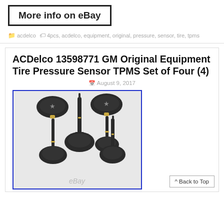[Figure (screenshot): Button/link with text 'More info on eBay' inside a bold black border rectangle]
acdelco  4pcs, acdelco, equipment, original, pressure, sensor, tire, tpms
ACDelco 13598771 GM Original Equipment Tire Pressure Sensor TPMS Set of Four (4)
August 9, 2017
[Figure (photo): Product photo of four ACDelco TPMS tire pressure sensors arranged in a 2x2 layout. Each sensor is dark/black with a valve stem and sensor body with a star logo. The image has an eBay watermark at the bottom. The photo is enclosed in a blue-bordered rectangle.]
^ Back to Top